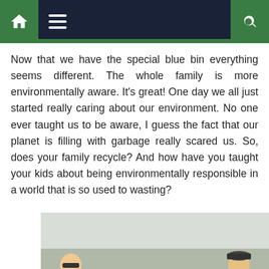Navigation bar with home, menu, and search icons
Now that we have the special blue bin everything seems different. The whole family is more environmentally aware. It's great! One day we all just started really caring about our environment. No one ever taught us to be aware, I guess the fact that our planet is filling with garbage really scared us. So, does your family recycle? And how have you taught your kids about being environmentally responsible in a world that is so used to wasting?
[Figure (photo): Two workers in high-visibility green jackets standing beside a row of recycling bins labeled GLASS, GLASS, GLASS, ALUMINO, ALUMINO, outdoors near a fence]